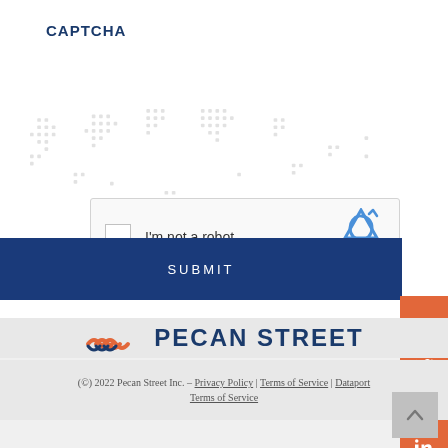CAPTCHA
[Figure (screenshot): reCAPTCHA widget with checkbox, 'I'm not a robot' text, and reCAPTCHA logo with Privacy and Terms links]
SUBMIT
[Figure (logo): Pecan Street Inc. logo with orange wave icon and dark blue PECAN STREET text]
(C) 2022 Pecan Street Inc. – Privacy Policy | Terms of Service | Dataport Terms of Service